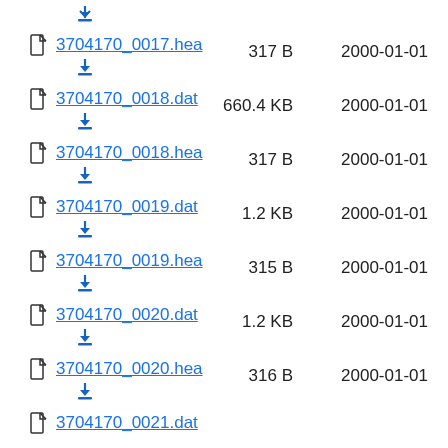3704170_0017.hea  317 B  2000-01-01
3704170_0018.dat  660.4 KB  2000-01-01
3704170_0018.hea  317 B  2000-01-01
3704170_0019.dat  1.2 KB  2000-01-01
3704170_0019.hea  315 B  2000-01-01
3704170_0020.dat  1.2 KB  2000-01-01
3704170_0020.hea  316 B  2000-01-01
3704170_0021.dat